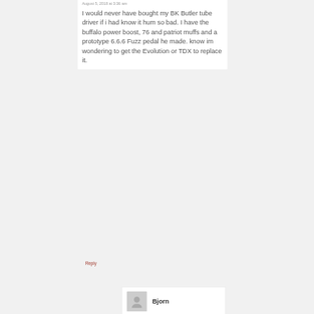August 5, 2018 at 3:36 am
I would never have bought my BK Butler tube driver if i had know it hum so bad. I have the buffalo power boost, 76 and patriot muffs and a prototype 6.6.6 Fuzz pedal he made. know im wondering to get the Evolution or TDX to replace it.
Reply
Bjorn